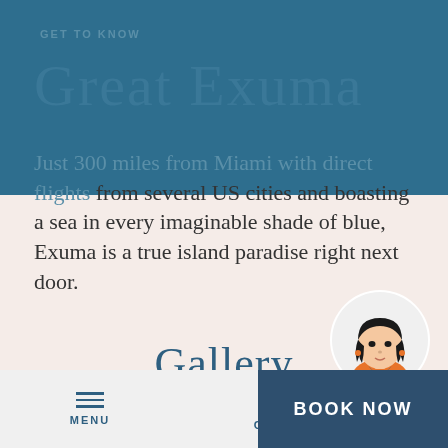GET TO KNOW
Great Exuma
Just 300 miles from Miami with direct flights from several US cities and boasting a sea in every imaginable shade of blue, Exuma is a true island paradise right next door.
[Figure (illustration): Circular avatar illustration of a woman with black bob hair wearing an orange top with blue collar]
Gallery
MENU  CALL  BOOK NOW